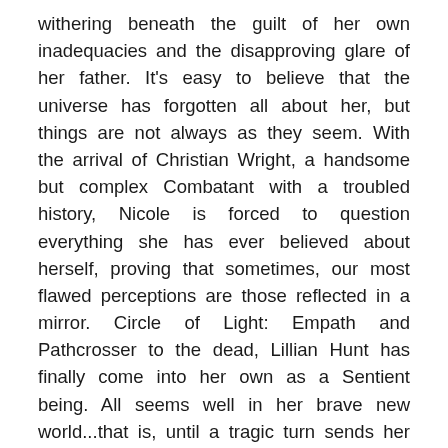withering beneath the guilt of her own inadequacies and the disapproving glare of her father. It's easy to believe that the universe has forgotten all about her, but things are not always as they seem. With the arrival of Christian Wright, a handsome but complex Combatant with a troubled history, Nicole is forced to question everything she has ever believed about herself, proving that sometimes, our most flawed perceptions are those reflected in a mirror. Circle of Light: Empath and Pathcrosser to the dead, Lillian Hunt has finally come into her own as a Sentient being. All seems well in her brave new world...that is, until a tragic turn sends her tight-knit Sentient group on a rescue mission through lore-infested Europe. Their goal is to save the love of Lily's life-vampire Sentient, William Maddox - from both the prejudice of their own society